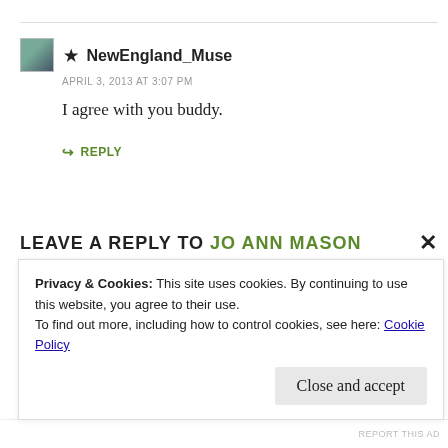★ NewEngland_Muse
APRIL 3, 2013 AT 3:07 PM
I agree with you buddy.
↪ REPLY
LEAVE A REPLY TO JO ANN MASON
Your email address will not be published. Required fields are marked *
Privacy & Cookies: This site uses cookies. By continuing to use this website, you agree to their use.
To find out more, including how to control cookies, see here: Cookie Policy
Close and accept